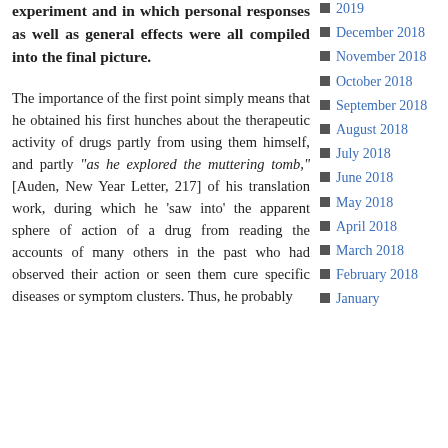experiment and in which personal responses as well as general effects were all compiled into the final picture.
The importance of the first point simply means that he obtained his first hunches about the therapeutic activity of drugs partly from using them himself, and partly "as he explored the muttering tomb," [Auden, New Year Letter, 217] of his translation work, during which he 'saw into' the apparent sphere of action of a drug from reading the accounts of many others in the past who had observed their action or seen them cure specific diseases or symptom clusters. Thus, he probably
2019
December 2018
November 2018
October 2018
September 2018
August 2018
July 2018
June 2018
May 2018
April 2018
March 2018
February 2018
January